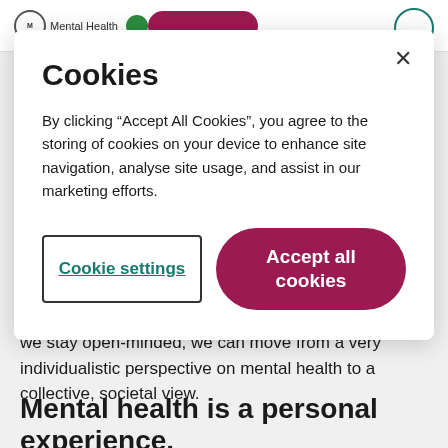[Figure (screenshot): Mental Health website header with logo, navigation button in dark red/maroon, and a teal circle icon]
Cookies
By clicking “Accept All Cookies”, you agree to the storing of cookies on your device to enhance site navigation, analyse site usage, and assist in our marketing efforts.
Cookie settings
Accept all cookies
we stay open-minded, we can move from a very individualistic perspective on mental health to a collective, societal view.
Mental health is a personal experience.